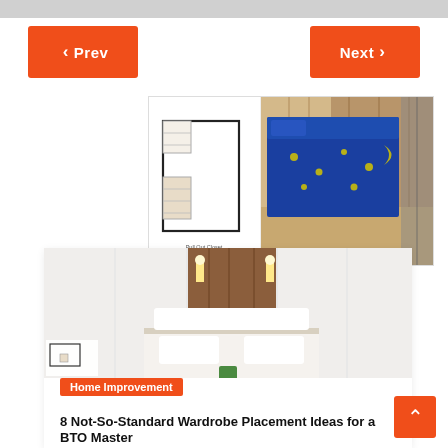< Prev
Next >
[Figure (photo): Composite image: floor plan diagram on the left showing a room layout with pull-out closet label, and a bedroom photo on the right showing a blue star-patterned bed against wood-panel walls.]
[Figure (photo): Interior bedroom photo showing a modern bed with white headboard and wooden accent wall with built-in lighting, flanked by white wardrobes. A small floor plan inset is visible at the bottom left.]
Home Improvement
8 Not-So-Standard Wardrobe Placement Ideas for a BTO Master